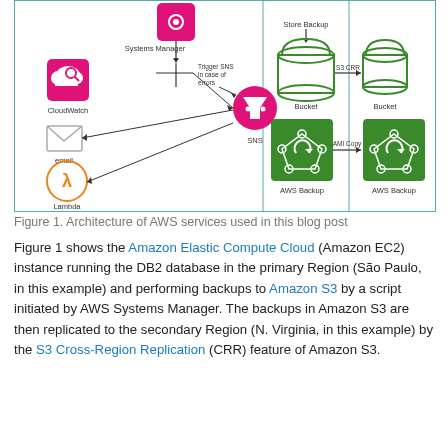[Figure (engineering-diagram): AWS architecture diagram showing CloudWatch, Systems Manager, SNS, email, Lambda Function on the left side connected by arrows; on the right side showing S3 Buckets with S3 CRR replication arrow, and AWS Backup with AMI Copy arrow, all within a bordered region.]
Figure 1. Architecture of AWS services used in this blog post
Figure 1 shows the Amazon Elastic Compute Cloud (Amazon EC2) instance running the DB2 database in the primary Region (São Paulo, in this example) and performing backups to Amazon S3 by a script initiated by AWS Systems Manager. The backups in Amazon S3 are then replicated to the secondary Region (N. Virginia, in this example) by the S3 Cross-Region Replication (CRR) feature of Amazon S3.